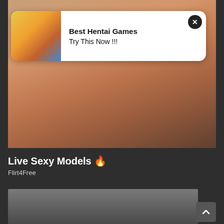[Figure (photo): Main background photo of a person with tattoos in a room setting]
[Figure (illustration): Advertisement overlay with anime-style illustration. Title: Best Hentai Games. Subtitle: Try This Now !!!]
Best Hentai Games
Try This Now !!!
Live Sexy Models 🔥
Flirt4Free
[Figure (photo): Partial photo at the bottom of the page, person visible from top]